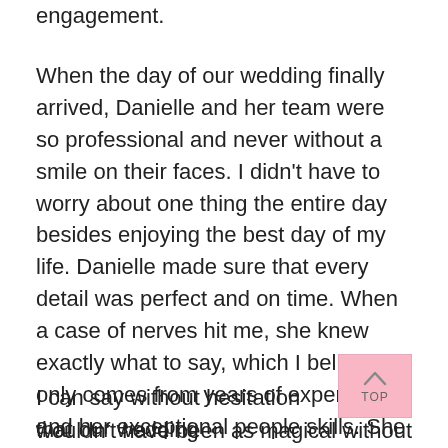engagement.
When the day of our wedding finally arrived, Danielle and her team were so professional and never without a smile on their faces. I didn't have to worry about one thing the entire day besides enjoying the best day of my life. Danielle made sure that every detail was perfect and on time. When a case of nerves hit me, she knew exactly what to say, which I believe only comes from years of experience and her exceptional people skills. She is honest and genuinely cares about all her brides and grooms and took the time to get to know us over the course of a year and a half.
I can say without hesitation that our wedding wouldn't have been as magical without her and don't